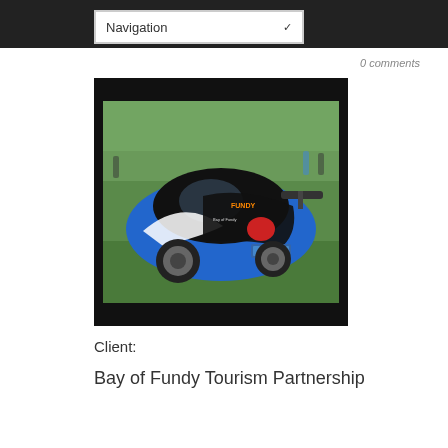Navigation
0 Comments
[Figure (photo): A blue and black Volkswagen New Beetle with Bay of Fundy Tourism Partnership branding/wrap, parked on grass at an outdoor event with people in background.]
Client:
Bay of Fundy Tourism Partnership